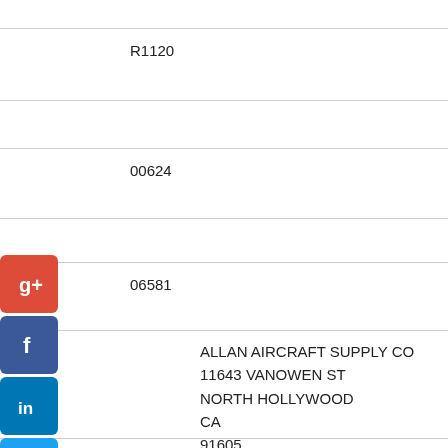R1120
00624
06581
ALLAN AIRCRAFT SUPPLY CO
11643 VANOWEN ST
NORTH HOLLYWOOD
CA
91605
818-765-4992